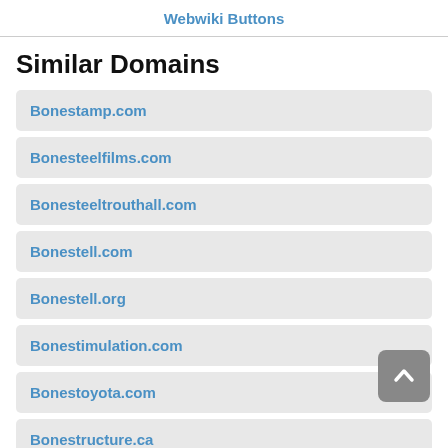Webwiki Buttons
Similar Domains
Bonestamp.com
Bonesteelfilms.com
Bonesteeltrouthall.com
Bonestell.com
Bonestell.org
Bonestimulation.com
Bonestoyota.com
Bonestructure.ca